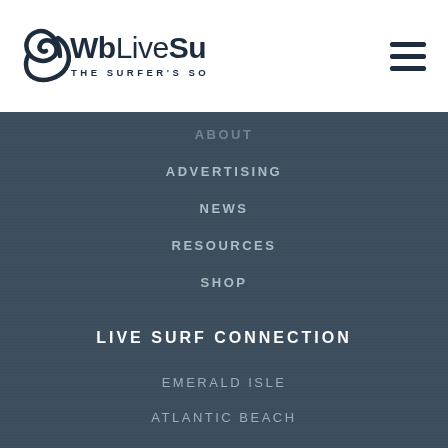[Figure (logo): WbLiveSurf logo with wave icon and tagline THE SURFER'S SOURCE]
ABOUT
ADVERTISING
NEWS
RESOURCES
SHOP
LIVE SURF CONNECTION
EMERALD ISLE
ATLANTIC BEACH
FACEBOOK
INSTAGRAM